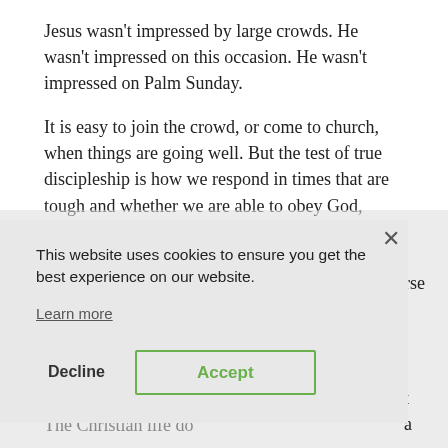Jesus wasn't impressed by large crowds. He wasn't impressed on this occasion. He wasn't impressed on Palm Sunday.
It is easy to join the crowd, or come to church, when things are going well. But the test of true discipleship is how we respond in times that are tough and whether we are able to obey God,
This website uses cookies to ensure you get the best experience on our website.
Learn more
Decline
Accept
The Christian life does not...